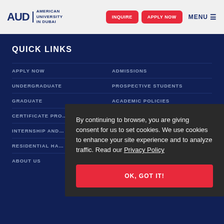AUD | AMERICAN UNIVERSITY IN DUBAI — INQUIRE | APPLY NOW | MENU
QUICK LINKS
APPLY NOW
ADMISSIONS
UNDERGRADUATE
PROSPECTIVE STUDENTS
GRADUATE
ACADEMIC POLICIES
CERTIFICATE PRO[GRAMS]
INTERNSHIP AND[...]
RESIDENTIAL HA[LLS]
ABOUT US
By continuing to browse, you are giving consent for us to set cookies. We use cookies to enhance your site experience and to analyze traffic. Read our Privacy Policy